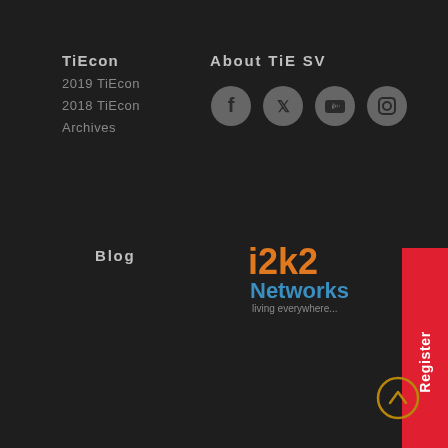TiEcon
2019 TiEcon
2018 TiEcon
Archives
About TiE SV
[Figure (illustration): Social media icons: Facebook, Twitter, YouTube, Instagram - circular gray icons]
Blog
[Figure (logo): i2k2 Networks logo - living everywhere...]
Register
[Figure (illustration): Scroll to top circular arrow button]